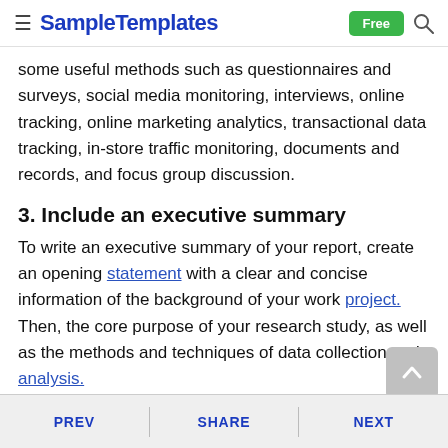SampleTemplates — Free
some useful methods such as questionnaires and surveys, social media monitoring, interviews, online tracking, online marketing analytics, transactional data tracking, in-store traffic monitoring, documents and records, and focus group discussion.
3. Include an executive summary
To write an executive summary of your report, create an opening statement with a clear and concise information of the background of your work project. Then, the core purpose of your research study, as well as the methods and techniques of data collection and analysis.
4. Analyze your research
PREV   SHARE   NEXT